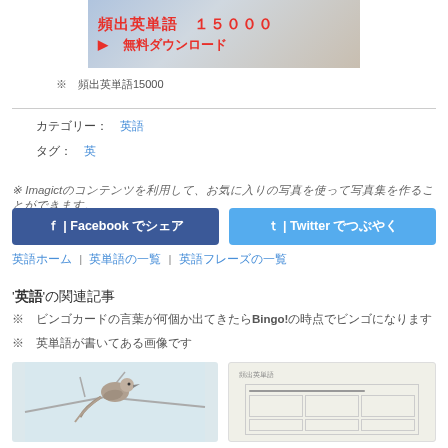[Figure (illustration): Banner image showing book pages background with Japanese text '頻出英単語 15000' in red bold and '▶ 無料ダウンロード' (Free Download) in red]
※ 頻出英単語15000
カテゴリー: 英語
タグ: 英
※ Imagictのコンテンツを利用して、お気に入りの写真を使って写真集を作ることができます。
🔵 | Facebook でシェア
🔵 | Twitter でつぶやく
英語ホーム | 英単語の一覧 | 英語フレーズの一覧
'英語'の関連記事
※ ビンゴカードの言葉が何個か出てきたらBingo!の時点でビンゴになります
※ 英単語が書いてある画像です
[Figure (photo): Photo of a bird (appears to be a small brown bird) perched on branches against a light background]
[Figure (screenshot): Document/worksheet image with light background, appears to be a grid or table layout]